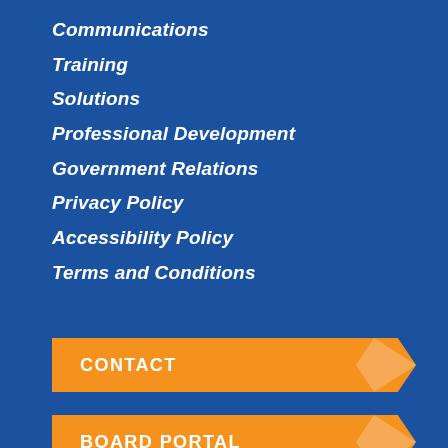Communications
Training
Solutions
Professional Development
Government Relations
Privacy Policy
Accessibility Policy
Terms and Conditions
CONTACT
BOARD PORTAL